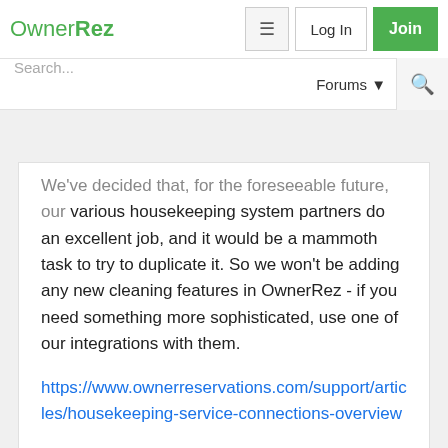OwnerRez
We've decided that, for the foreseeable future, our various housekeeping system partners do an excellent job, and it would be a mammoth task to try to duplicate it. So we won't be adding any new cleaning features in OwnerRez - if you need something more sophisticated, use one of our integrations with them.
https://www.ownerreservations.com/support/articles/housekeeping-service-connections-overview